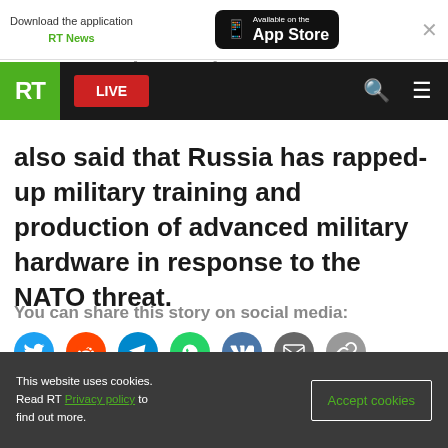[Figure (screenshot): App download banner with RT News and App Store button]
warmongering card.
[Figure (screenshot): RT navigation bar with logo, LIVE button, search and menu icons]
also said that Russia has rapped-up military training and production of advanced military hardware in response to the NATO threat.
You can share this story on social media:
[Figure (infographic): Social media share icons: Twitter, Reddit, Telegram, WhatsApp, VK, Email, Link]
[Figure (other): Advertisement placeholder gray box]
This website uses cookies. Read RT Privacy policy to find out more.
Accept cookies